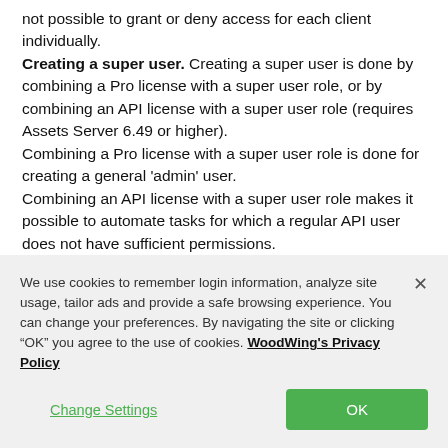not possible to grant or deny access for each client individually. Creating a super user. Creating a super user is done by combining a Pro license with a super user role, or by combining an API license with a super user role (requires Assets Server 6.49 or higher). Combining a Pro license with a super user role is done for creating a general 'admin' user. Combining an API license with a super user role makes it possible to automate tasks for which a regular API user does not have sufficient permissions.
We use cookies to remember login information, analyze site usage, tailor ads and provide a safe browsing experience. You can change your preferences. By navigating the site or clicking "OK" you agree to the use of cookies. WoodWing's Privacy Policy